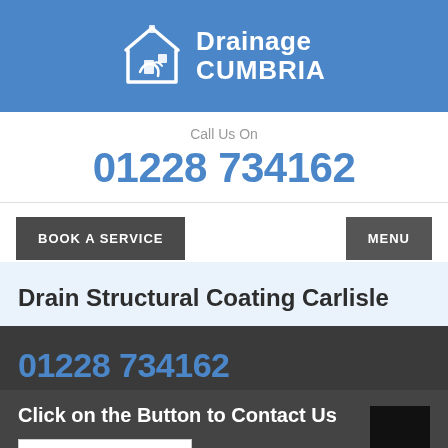[Figure (logo): Drainage Cumbria logo with house/drain icon on blue background]
Call Us On
01228 734162
BOOK A SERVICE
MENU
Drain Structural Coating Carlisle
01228 734162
Click on the Button to Contact Us
CONTACT FORM